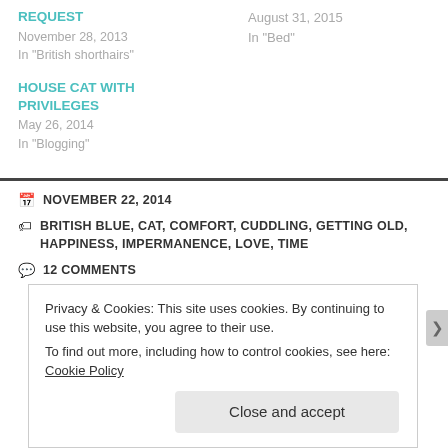REQUEST
November 28, 2013
In "British shorthairs"
August 31, 2015
In "Bed"
HOUSE CAT WITH PRIVILEGES
May 26, 2014
In "Blogging"
NOVEMBER 22, 2014
BRITISH BLUE, CAT, COMFORT, CUDDLING, GETTING OLD, HAPPINESS, IMPERMANENCE, LOVE, TIME
12 COMMENTS
Privacy & Cookies: This site uses cookies. By continuing to use this website, you agree to their use.
To find out more, including how to control cookies, see here: Cookie Policy
Close and accept